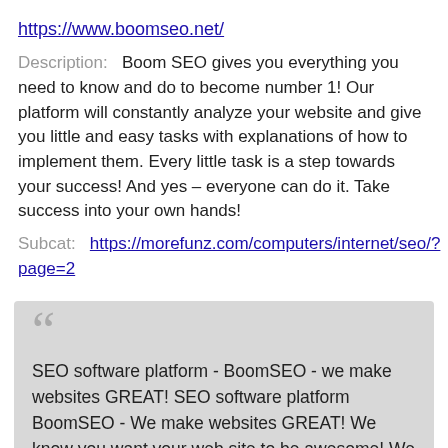https://www.boomseo.net/
Description: Boom SEO gives you everything you need to know and do to become number 1! Our platform will constantly analyze your website and give you little and easy tasks with explanations of how to implement them. Every little task is a step towards your success! And yes – everyone can do it. Take success into your own hands!
Subcat: https://morefunz.com/computers/internet/seo/?page=2
SEO software platform - BoomSEO - we make websites GREAT! SEO software platform BoomSEO - We make websites GREAT! We know you want your web site to be awesome! We know that you want to have more traffic and more